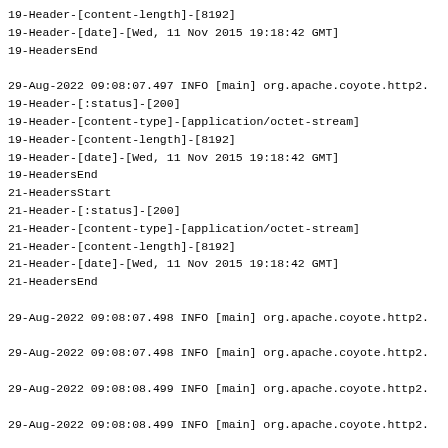19-Header-[content-length]-[8192]
19-Header-[date]-[Wed, 11 Nov 2015 19:18:42 GMT]
19-HeadersEnd
29-Aug-2022 09:08:07.497 INFO [main] org.apache.coyote.http2.
19-Header-[:status]-[200]
19-Header-[content-type]-[application/octet-stream]
19-Header-[content-length]-[8192]
19-Header-[date]-[Wed, 11 Nov 2015 19:18:42 GMT]
19-HeadersEnd
21-HeadersStart
21-Header-[:status]-[200]
21-Header-[content-type]-[application/octet-stream]
21-Header-[content-length]-[8192]
21-Header-[date]-[Wed, 11 Nov 2015 19:18:42 GMT]
21-HeadersEnd
29-Aug-2022 09:08:07.498 INFO [main] org.apache.coyote.http2.
29-Aug-2022 09:08:07.498 INFO [main] org.apache.coyote.http2.
29-Aug-2022 09:08:08.499 INFO [main] org.apache.coyote.http2.
29-Aug-2022 09:08:08.499 INFO [main] org.apache.coyote.http2.
29-Aug-2022 09:08:08.499 INFO [main] org.apache.coyote.http2.
29-Aug-2022 09:08:08.500 INFO [main] org.apache.coyote.http2.
29-Aug-2022 09:08:08.500 INFO [main] org.apache.coyote.http2.
19-EndOfStream